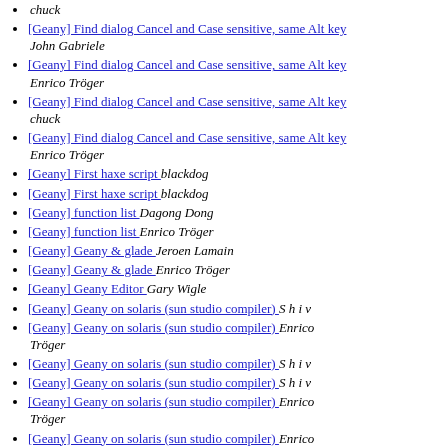chuck
[Geany] Find dialog Cancel and Case sensitive, same Alt key  John Gabriele
[Geany] Find dialog Cancel and Case sensitive, same Alt key  Enrico Tröger
[Geany] Find dialog Cancel and Case sensitive, same Alt key  chuck
[Geany] Find dialog Cancel and Case sensitive, same Alt key  Enrico Tröger
[Geany] First haxe script   blackdog
[Geany] First haxe script   blackdog
[Geany] function list   Dagong Dong
[Geany] function list   Enrico Tröger
[Geany] Geany & glade   Jeroen Lamain
[Geany] Geany & glade   Enrico Tröger
[Geany] Geany Editor   Gary Wigle
[Geany] Geany on solaris (sun studio compiler)   S h i v
[Geany] Geany on solaris (sun studio compiler)   Enrico Tröger
[Geany] Geany on solaris (sun studio compiler)   S h i v
[Geany] Geany on solaris (sun studio compiler)   S h i v
[Geany] Geany on solaris (sun studio compiler)   Enrico Tröger
[Geany] Geany on solaris (sun studio compiler)   Enrico Tröger